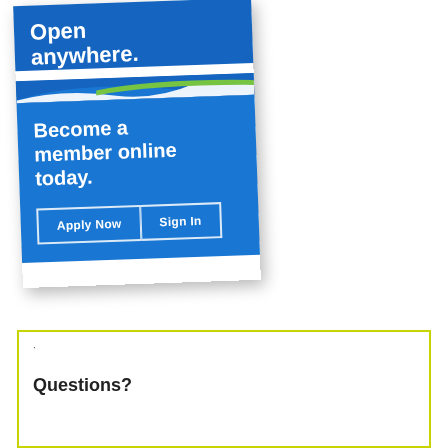[Figure (illustration): Blue membership card graphic with 'Open anywhere.' text at top, decorative swoosh divider, 'Become a member online today.' text, and two buttons: 'Apply Now' and 'Sign In']
Questions?